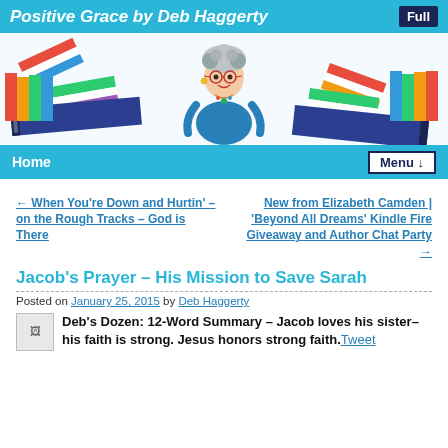Positive Grace by Deb Haggerty
[Figure (illustration): Blog banner with cartoon woman with grey curly hair and glasses in blue dress, surrounded by colorful stacked books on both sides, on white background]
Home   Menu ↓
← When You're Down and Hurtin' – on the Rough Tracks – God is There
New from Elizabeth Camden | 'Beyond All Dreams' Kindle Fire Giveaway and Author Chat Party →
Jacob's Prayer – His Mission to Save Sarah
Posted on January 25, 2015 by Deb Haggerty
Deb's Dozen: 12-Word Summary – Jacob loves his sister–his faith is strong. Jesus honors strong faith. Tweet